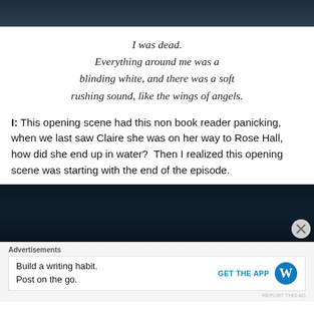[Figure (photo): Dark, moody top image — dark blue/grey tones]
I was dead.
Everything around me was a blinding white, and there was a soft rushing sound, like the wings of angels.
I: This opening scene had this non book reader panicking, when we last saw Claire she was on her way to Rose Hall, how did she end up in water?  Then I realized this opening scene was starting with the end of the episode.
[Figure (photo): Dark moody bottom image — dark navy blue tones]
Advertisements
Build a writing habit. Post on the go.
GET THE APP